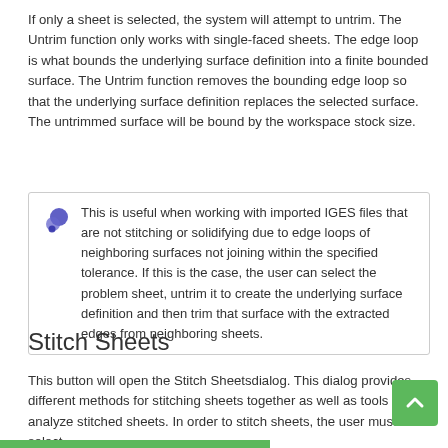If only a sheet is selected, the system will attempt to untrim. The Untrim function only works with single-faced sheets. The edge loop is what bounds the underlying surface definition into a finite bounded surface. The Untrim function removes the bounding edge loop so that the underlying surface definition replaces the selected surface. The untrimmed surface will be bound by the workspace stock size.
This is useful when working with imported IGES files that are not stitching or solidifying due to edge loops of neighboring surfaces not joining within the specified tolerance. If this is the case, the user can select the problem sheet, untrim it to create the underlying surface definition and then trim that surface with the extracted edges from neighboring sheets.
Stitch Sheets
This button will open the Stitch Sheetsdialog. This dialog provides different methods for stitching sheets together as well as tools to analyze stitched sheets. In order to stitch sheets, the user must select